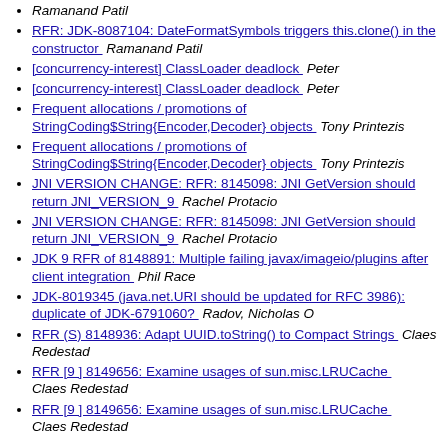Ramanand Patil
RFR: JDK-8087104: DateFormatSymbols triggers this.clone() in the constructor  Ramanand Patil
[concurrency-interest] ClassLoader deadlock  Peter
[concurrency-interest] ClassLoader deadlock  Peter
Frequent allocations / promotions of StringCoding$String{Encoder,Decoder} objects  Tony Printezis
Frequent allocations / promotions of StringCoding$String{Encoder,Decoder} objects  Tony Printezis
JNI VERSION CHANGE: RFR: 8145098: JNI GetVersion should return JNI_VERSION_9  Rachel Protacio
JNI VERSION CHANGE: RFR: 8145098: JNI GetVersion should return JNI_VERSION_9  Rachel Protacio
JDK 9 RFR of 8148891: Multiple failing javax/imageio/plugins after client integration  Phil Race
JDK-8019345 (java.net.URI should be updated for RFC 3986): duplicate of JDK-6791060?  Radov, Nicholas O
RFR (S) 8148936: Adapt UUID.toString() to Compact Strings  Claes Redestad
RFR [9 ] 8149656: Examine usages of sun.misc.LRUCache  Claes Redestad
RFR [9 ] 8149656: Examine usages of sun.misc.LRUCache  Claes Redestad